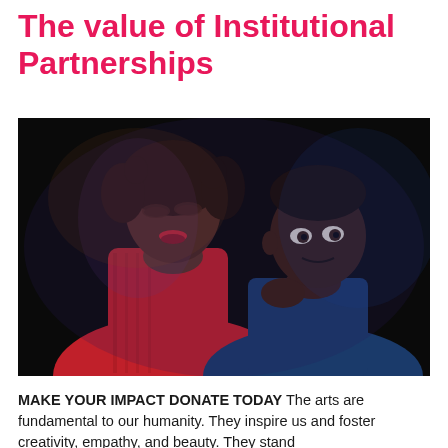The value of Institutional Partnerships
[Figure (photo): Two performers on stage: a woman in a red dress with eyes closed singing, and a man beside her looking forward, both under dramatic stage lighting against a dark background.]
MAKE YOUR IMPACT DONATE TODAY The arts are fundamental to our humanity. They inspire us and foster creativity, empathy, and beauty. They stand...